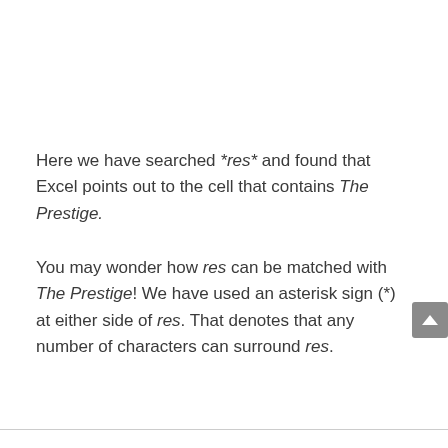Here we have searched *res* and found that Excel points out to the cell that contains The Prestige.
You may wonder how res can be matched with The Prestige! We have used an asterisk sign (*) at either side of res. That denotes that any number of characters can surround res.